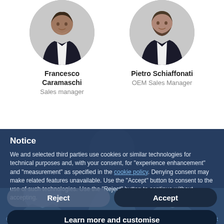[Figure (photo): Profile photo of Francesco Caramaschi, a man in dark suit with white shirt, circular crop]
Francesco Caramaschi
Sales manager
[Figure (photo): Profile photo of Pietro Schiaffonati, a man in dark suit with white shirt, circular crop]
Pietro Schiaffonati
OEM Sales Manager
[Figure (photo): Background showing dimmed images of multiple people including a person in center and two people (woman and person with glasses) below]
Notice
We and selected third parties use cookies or similar technologies for technical purposes and, with your consent, for “experience enhancement” and “measurement” as specified in the cookie policy. Denying consent may make related features unavailable. Use the “Accept” button to consent to the use of such technologies. Use the “Reject” button to continue without accepting.
Reject
Accept
Learn more and customise